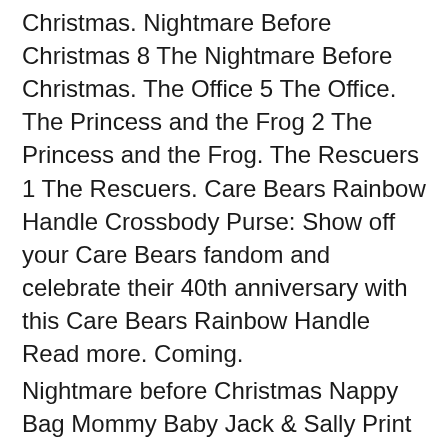Christmas. Nightmare Before Christmas 8 The Nightmare Before Christmas. The Office 5 The Office. The Princess and the Frog 2 The Princess and the Frog. The Rescuers 1 The Rescuers. Care Bears Rainbow Handle Crossbody Purse: Show off your Care Bears fandom and celebrate their 40th anniversary with this Care Bears Rainbow Handle Read more. Coming.
Nightmare before Christmas Nappy Bag Mommy Baby Jack & Sally Print Fashion Multi-function Backpack Gothic Style Tim Burton Black Halloween. Loungefly x Disney Nightmare Before Christmas Oogie Boogie Wheel Purse · Officially licensed Disney merchandise · Contains 7 slots + 1 Photo/ID slot · Finished.
Loungefly Disney Mickey Mouse All Over Print Womens Double Strap Shoulder Bag Purse. Brand: Loungefly. out of 5 stars ratings | 20 answered questions. Amazon's Choice highlights highly rated, well-priced products available to